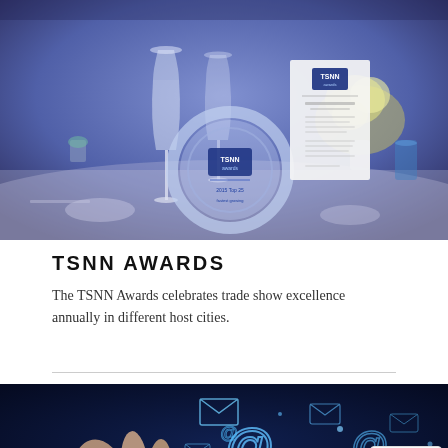[Figure (photo): Gala dinner table setting with TSNN Awards trophy (circular acrylic plaque), wine glasses, floral arrangement, and a printed event program card, all lit with blue ambient lighting.]
TSNN AWARDS
The TSNN Awards celebrates trade show excellence annually in different host cities.
[Figure (photo): Close-up of a hand pressing a digital touchscreen showing glowing email and at-symbol icons, representing digital communication.]